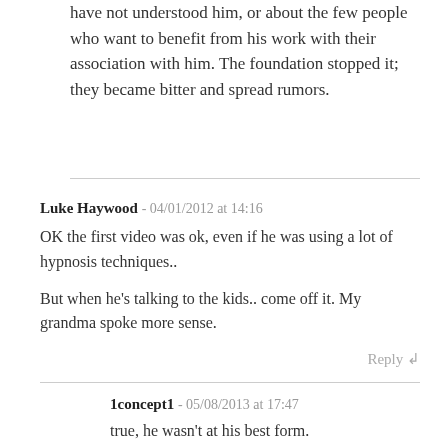have not understood him, or about the few people who want to benefit from his work with their association with him. The foundation stopped it; they became bitter and spread rumors.
Luke Haywood - 04/01/2012 at 14:16
OK the first video was ok, even if he was using a lot of hypnosis techniques..
But when he's talking to the kids.. come off it. My grandma spoke more sense.
Reply
1concept1 - 05/08/2013 at 17:47
true, he wasn't at his best form.